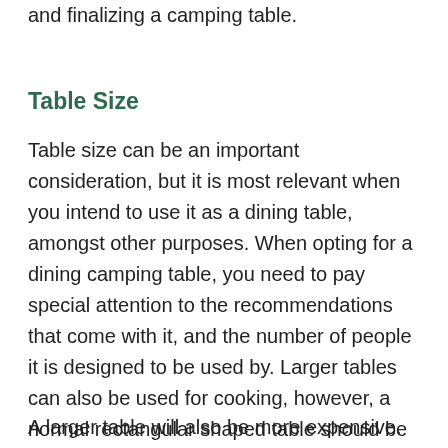and finalizing a camping table.
Table Size
Table size can be an important consideration, but it is most relevant when you intend to use it as a dining table, amongst other purposes. When opting for a dining camping table, you need to pay special attention to the recommendations that come with it, and the number of people it is designed to be used by. Larger tables can also be used for cooking, however, a normal rectangular shaped table should be satisfactory for 4 persons.
A larger table will also be more expensive. This is